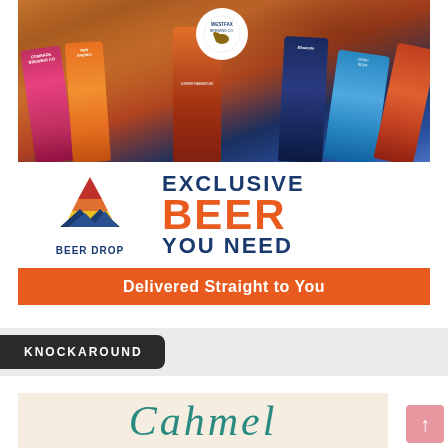[Figure (photo): Beer Drop advertisement showing craft beer cans including Westfax Brewing Co, Comrade Brewing Co, and other craft beers arranged together, with Beer Drop mountain logo and text 'EXCLUSIVE BEER YOU NEED' and 'Delivered Straight to You' on an orange banner]
KNOCKAROUND
[Figure (photo): Partial view of an advertisement with a cream/beige background showing stylized cursive script text beginning with a decorative letter]